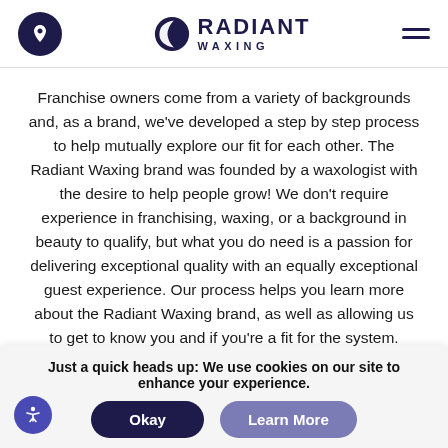Radiant Waxing
Franchise owners come from a variety of backgrounds and, as a brand, we've developed a step by step process to help mutually explore our fit for each other. The Radiant Waxing brand was founded by a waxologist with the desire to help people grow! We don't require experience in franchising, waxing, or a background in beauty to qualify, but what you do need is a passion for delivering exceptional quality with an equally exceptional guest experience. Our process helps you learn more about the Radiant Waxing brand, as well as allowing us to get to know you and if you're a fit for the system.
Just a quick heads up: We use cookies on our site to enhance your experience.